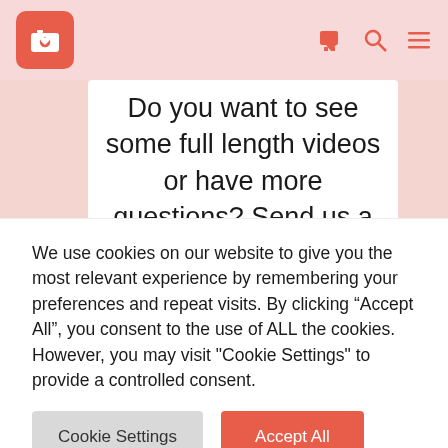[Figure (logo): Red rounded rectangle logo with white camera and heart icon]
Do you want to see some full length videos or have more questions? Send us a message here...
Your name
We use cookies on our website to give you the most relevant experience by remembering your preferences and repeat visits. By clicking “Accept All”, you consent to the use of ALL the cookies. However, you may visit "Cookie Settings" to provide a controlled consent.